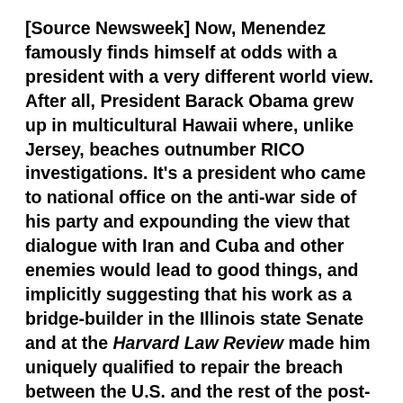[Source Newsweek] Now, Menendez famously finds himself at odds with a president with a very different world view. After all, President Barack Obama grew up in multicultural Hawaii where, unlike Jersey, beaches outnumber RICO investigations. It's a president who came to national office on the anti-war side of his party and expounding the view that dialogue with Iran and Cuba and other enemies would lead to good things, and implicitly suggesting that his work as a bridge-builder in the Illinois state Senate and at the Harvard Law Review made him uniquely qualified to repair the breach between the U.S. and the rest of the post-Bush world.
Those two worldviews are now in clear conflict. As the